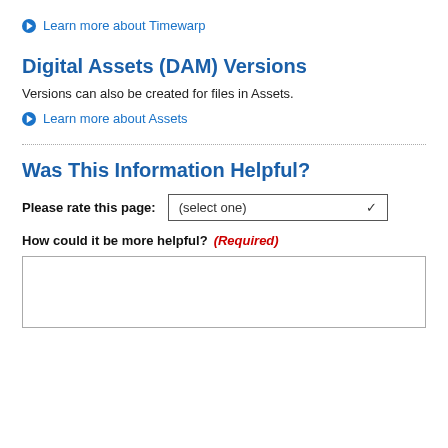Learn more about Timewarp
Digital Assets (DAM) Versions
Versions can also be created for files in Assets.
Learn more about Assets
Was This Information Helpful?
Please rate this page: (select one)
How could it be more helpful? (Required)